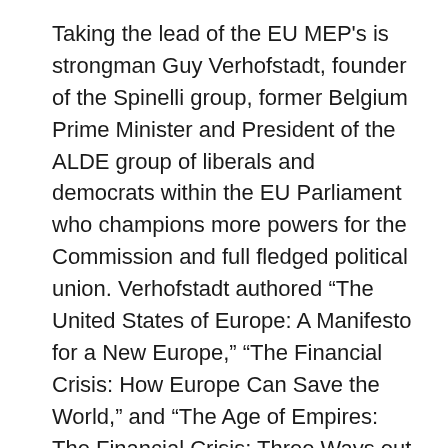Taking the lead of the EU MEP’s is strongman Guy Verhofstadt, founder of the Spinelli group, former Belgium Prime Minister and President of the ALDE group of liberals and democrats within the EU Parliament who champions more powers for the Commission and full fledged political union. Verhofstadt authored “The United States of Europe: A Manifesto for a New Europe,” “The Financial Crisis: How Europe Can Save the World,” and “The Age of Empires: The Financial Crisis: Three Ways out for Europe.” A potential candidate for the next Commission presidency, Verhofstadt’s ALDE group are currently the most proactive advocates for immediate and radical changes within the Union to combat the financial crisis. In